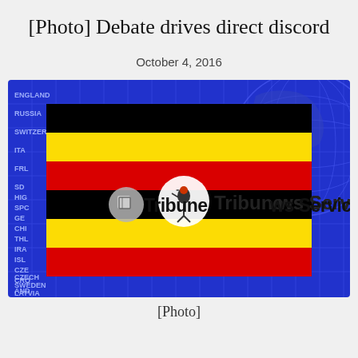[Photo] Debate drives direct discord
October 4, 2016
[Figure (photo): Uganda flag image with Tribune News Service watermark overlay, shown against a blue globe/world map background with country names and grid lines]
[Photo]